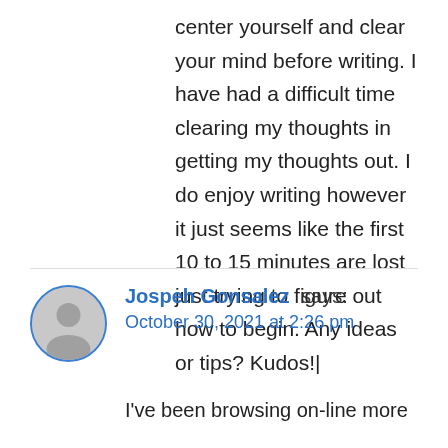center yourself and clear your mind before writing. I have had a difficult time clearing my thoughts in getting my thoughts out. I do enjoy writing however it just seems like the first 10 to 15 minutes are lost just trying to figure out how to begin. Any ideas or tips? Kudos!|
Jospeh Gonsalez says:
October 30, 2021 at 2:26 pm
I've been browsing on-line more